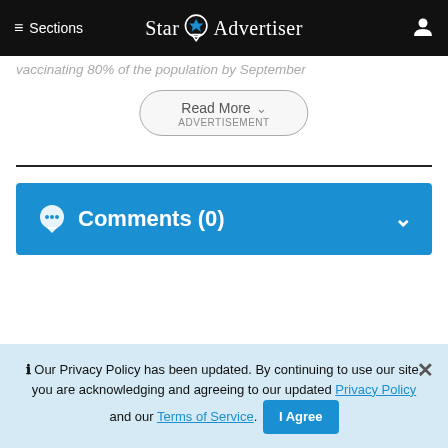≡ Sections  Star ✦ Advertiser  👤
vaccinating 80% of the population by September
Read More ∨
ADVERTISEMENT
💬 Comments (0)
ℹ Our Privacy Policy has been updated. By continuing to use our site, you are acknowledging and agreeing to our updated Privacy Policy and our Terms of Service. I Agree